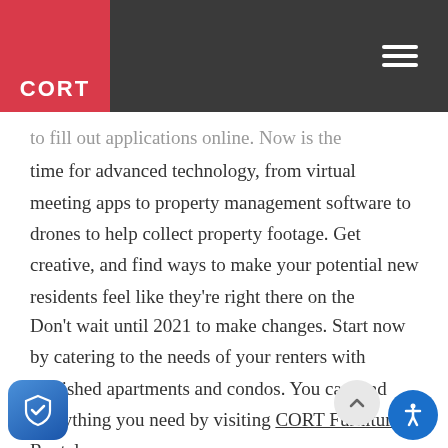CORT
to fill out applications online. Now is the time for advanced technology, from virtual meeting apps to property management software to drones to help collect property footage. Get creative, and find ways to make your potential new residents feel like they're right there on the property when they visit your website.
Don't wait until 2021 to make changes. Start now by catering to the needs of your renters with furnished apartments and condos. You can find everything you need by visiting CORT Furniture Rental.